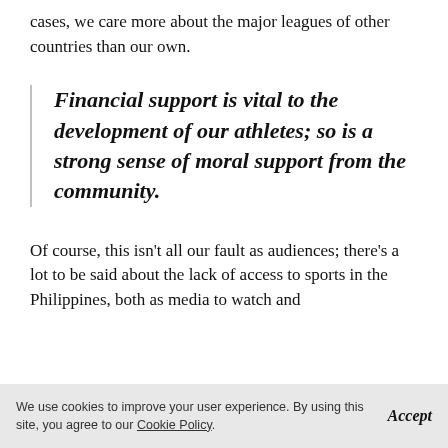cases, we care more about the major leagues of other countries than our own.
Financial support is vital to the development of our athletes; so is a strong sense of moral support from the community.
Of course, this isn't all our fault as audiences; there's a lot to be said about the lack of access to sports in the Philippines, both as media to watch and
We use cookies to improve your user experience. By using this site, you agree to our Cookie Policy.   Accept